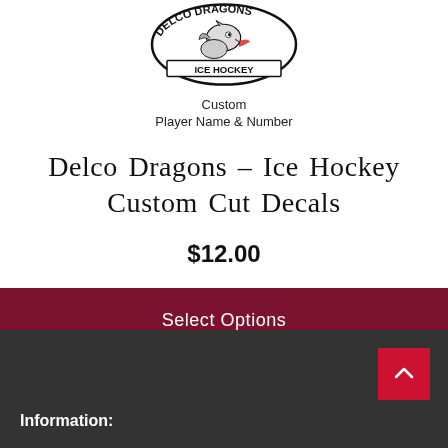[Figure (logo): Delco Dragons Ice Hockey logo with dragon graphic, circular badge design, text 'DELCO DRAGONS ICE HOCKEY']
Custom
Player Name & Number
Delco Dragons – Ice Hockey Custom Cut Decals
$12.00
Select Options
Information: